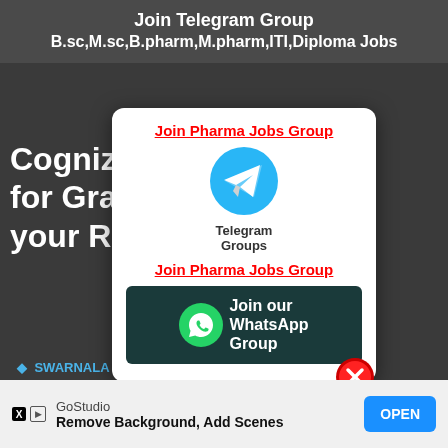Join Telegram Group
B.sc,M.sc,B.pharm,M.pharm,ITI,Diploma Jobs
Cogniza...tment for Grad...end your Res...
SWARNALA...
[Figure (screenshot): Popup modal with Telegram group join link, Telegram Groups icon, Join Pharma Jobs Group link, and WhatsApp group join banner with close button]
[Figure (screenshot): Advertisement banner: GoStudio - Remove Background, Add Scenes with OPEN button]